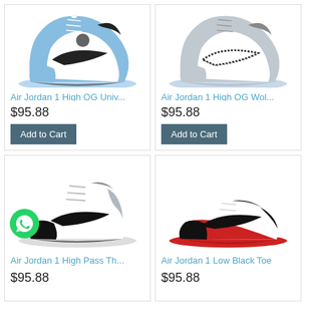[Figure (photo): Air Jordan 1 High OG University Blue sneaker - blue, white and black colorway, high-top]
Air Jordan 1 High OG Univ...
$95.88
Add to Cart
[Figure (photo): Air Jordan 1 High OG Wolf Grey sneaker - grey and white colorway with patterned swoosh, high-top]
Air Jordan 1 High OG Wol...
$95.88
Add to Cart
[Figure (photo): Air Jordan 1 High Pass The Torch sneaker - white, black and silver colorway, mid-top]
Air Jordan 1 High Pass Th...
$95.88
[Figure (photo): Air Jordan 1 Low Black Toe sneaker - white, black and red colorway, low-top]
Air Jordan 1 Low Black Toe
$95.88